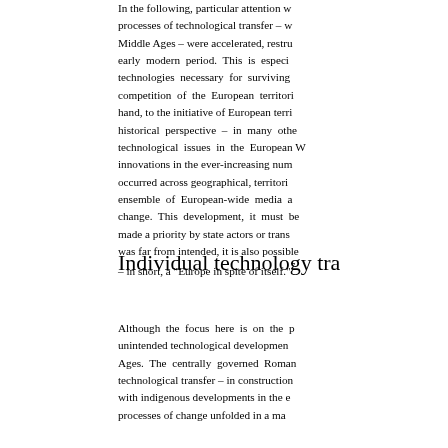In the following, particular attention w... processes of technological transfer – w... Middle Ages – were accelerated, restru... early modern period. This is especi... technologies necessary for surviving... competition of the European territori... hand, to the initiative of European terri... historical perspective – in many othe... technological issues in the European W... innovations in the ever-increasing num... occurred across geographical, territori... ensemble of European-wide media a... change. This development, it must be... made a priority by state actors or trans... was far from intended, it is also possible... – in short, a "Europe in spite of itself."⁷
Individual technology tra...
Although the focus here is on the p... unintended technological developmen... Ages. The centrally governed Roman... technological transfer – in construction... with indigenous developments in the e... processes of change unfolded in a ma...